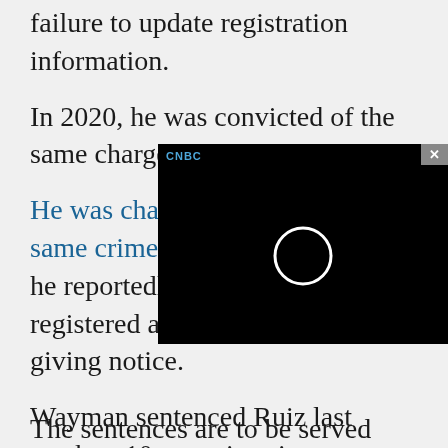failure to update registration information.
In 2020, he was convicted of the same charge.
He was charged again with the same crime in April 2021, when he reportedly purchased and registered a vehicle without giving notice.
Wayman sentenced Ruiz last week to 10 years in prison on maximum penalty and five years inde credit for time serv
[Figure (screenshot): Video player overlay with black background, CNBC logo in blue, close button (x) in gray, and a circular loading/play indicator in the center]
The sentences are to be served